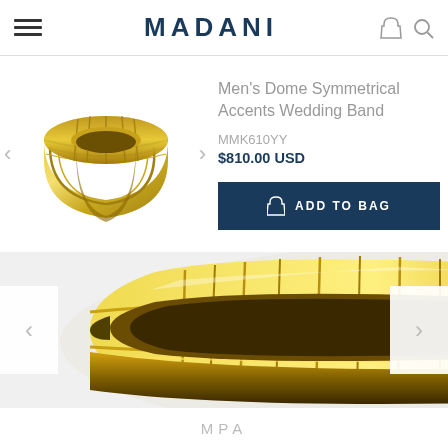MADANI
[Figure (photo): Small thumbnail of a yellow gold men's dome symmetrical accents wedding band ring with crosshatch textured pattern, viewed at angle]
Men's Dome Symmetrical Accents Wedding Band
MMK610YY
$810.00 USD
[Figure (photo): Large close-up of a yellow gold men's dome symmetrical accents wedding band ring showing detailed crosshatch groove pattern and shiny finish]
MPA